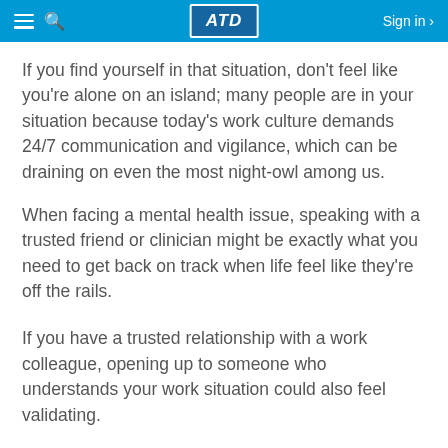ATD — Sign in
If you find yourself in that situation, don't feel like you're alone on an island; many people are in your situation because today's work culture demands 24/7 communication and vigilance, which can be draining on even the most night-owl among us.
When facing a mental health issue, speaking with a trusted friend or clinician might be exactly what you need to get back on track when life feel like they're off the rails.
If you have a trusted relationship with a work colleague, opening up to someone who understands your work situation could also feel validating.
As if handling your own mental wellbeing wasn't